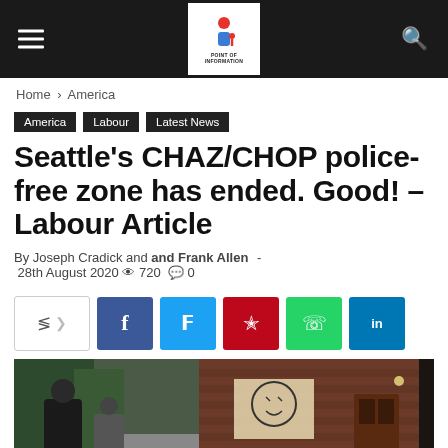Point of Information – Navigation Bar
Home › America
America
Labour
Latest News
Seattle's CHAZ/CHOP police-free zone has ended. Good! – Labour Article
By Joseph Cradick and and Frank Allen - 28th August 2020 👁 720 💬 0
[Figure (screenshot): Social share buttons: share toggle, Facebook, Twitter, Pinterest, WhatsApp, LinkedIn]
[Figure (photo): Street scene photo showing people near a brick building, likely in Seattle near CHAZ/CHOP zone]